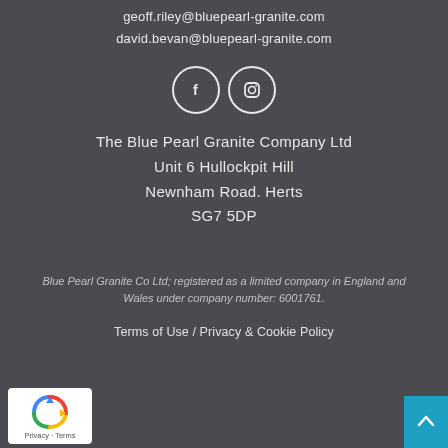geoff.riley@bluepearl-granite.com
david.bevan@bluepearl-granite.com
[Figure (illustration): Two circular social media icons with white outlines on dark background: Facebook (f) and Instagram (camera) icons]
The Blue Pearl Granite Company Ltd
Unit 6 Hullockpit Hill
Newnham Road. Herts
SG7 5DP
Blue Pearl Granite Co Ltd; registered as a limited company in England and Wales under company number: 6001761.
Terms of Use / Privacy & Cookie Policy
[Figure (logo): reCAPTCHA badge with Privacy - Terms text]
[Figure (illustration): Scroll to top button - teal/cyan square with upward arrow]